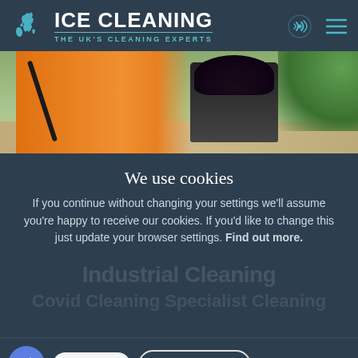[Figure (logo): Ice Cleaning logo with UK map icon, white text 'ICE CLEANING' and teal subtitle 'THE UK'S CLEANING EXPERTS' on dark blue-grey background. Phone and menu icons on right.]
[Figure (photo): Worker in orange high-vis trousers holding a pressure washer wand near a wheelie bin with black bin bag, on cobbled/gravel ground.]
We use cookies
If you continue without changing your settings we'll assume you're happy to receive our cookies. If you'd like to change this just update your browser settings. Find out more.
[Figure (screenshot): Bottom bar showing a blue circle phone icon, 'Open 24/7' button, and 'Okay. I got it.' button on dark background.]